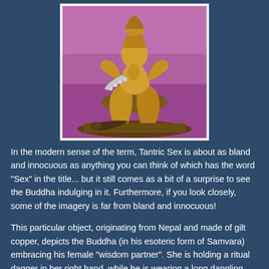[Figure (photo): A gilt copper statue from Nepal depicting the Buddha in his esoteric form of Samvara embracing his female wisdom partner, set against a purple background.]
In the modern sense of the term, Tantric Sex is about as bland and innocuous as anything you can think of which has the word "Sex" in the title... but it still comes as a bit of a surprise to see the Buddha indulging in it. Furthermore, if you look closely, some of the imagery is far from bland and innocuous!
This particular object, originating from Nepal and made of gilt copper, depicts the Buddha (in his esoteric form of Samvara) embracing his female "wisdom partner". She is holding a ritual dagger in her right hand, while he is wearing a long dangling necklace made of human skulls. Both of